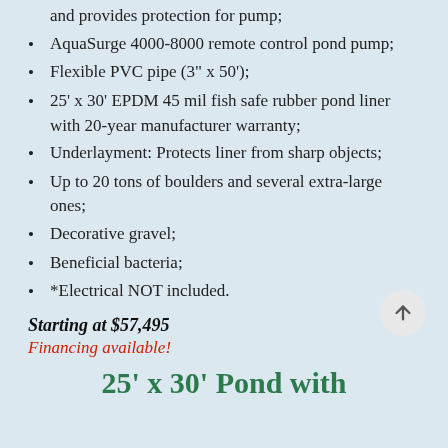and provides protection for pump;
AquaSurge 4000-8000 remote control pond pump;
Flexible PVC pipe (3" x 50');
25' x 30' EPDM 45 mil fish safe rubber pond liner with 20-year manufacturer warranty;
Underlayment: Protects liner from sharp objects;
Up to 20 tons of boulders and several extra-large ones;
Decorative gravel;
Beneficial bacteria;
*Electrical NOT included.
Starting at $57,495
Financing available!
25' x 30' Pond with